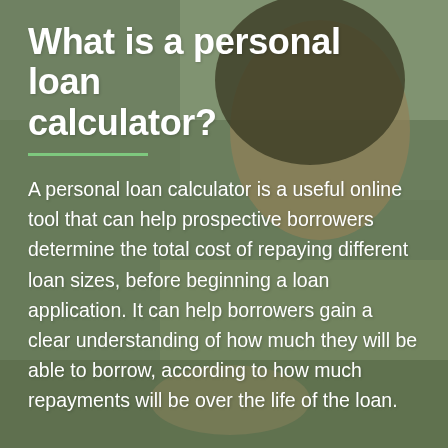[Figure (photo): Background photo of a smiling woman with curly hair and earphones, looking down at a laptop, with a warm blurred background. A dark semi-transparent overlay covers the image.]
What is a personal loan calculator?
A personal loan calculator is a useful online tool that can help prospective borrowers determine the total cost of repaying different loan sizes, before beginning a loan application. It can help borrowers gain a clear understanding of how much they will be able to borrow, according to how much repayments will be over the life of the loan.